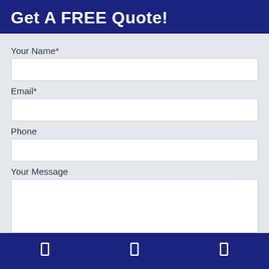Get A FREE Quote!
Your Name*
Email*
Phone
Your Message
[Figure (other): Navy blue footer bar with three white icon placeholders (navigation icons)]